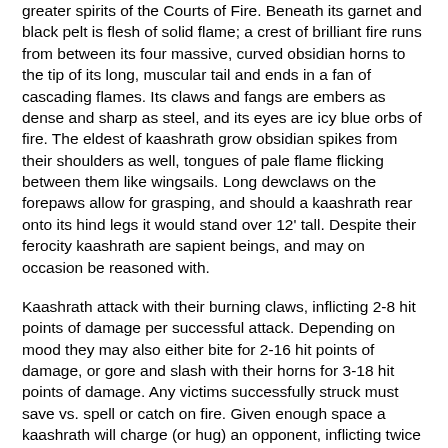greater spirits of the Courts of Fire. Beneath its garnet and black pelt is flesh of solid flame; a crest of brilliant fire runs from between its four massive, curved obsidian horns to the tip of its long, muscular tail and ends in a fan of cascading flames. Its claws and fangs are embers as dense and sharp as steel, and its eyes are icy blue orbs of fire. The eldest of kaashrath grow obsidian spikes from their shoulders as well, tongues of pale flame flicking between them like wingsails. Long dewclaws on the forepaws allow for grasping, and should a kaashrath rear onto its hind legs it would stand over 12' tall. Despite their ferocity kaashrath are sapient beings, and may on occasion be reasoned with.
Kaashrath attack with their burning claws, inflicting 2-8 hit points of damage per successful attack. Depending on mood they may also either bite for 2-16 hit points of damage, or gore and slash with their horns for 3-18 hit points of damage. Any victims successfully struck must save vs. spell or catch on fire. Given enough space a kaashrath will charge (or hug) an opponent, inflicting twice its gore attack (or 1-10 hit points per round) in damage. Twice a day a kaashrath may envelop an area around themselves, up to 30' in radius, in a haze of smoke and burning meteor; it may choose to have this haze